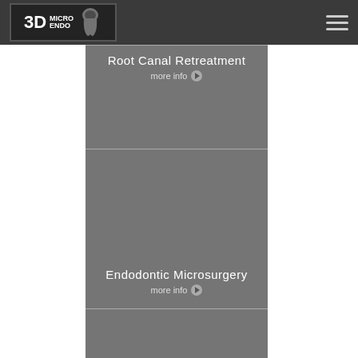3D Micro Endo
Root Canal Retreatment
more info ▶
Endodontic Microsurgery
more info ▶